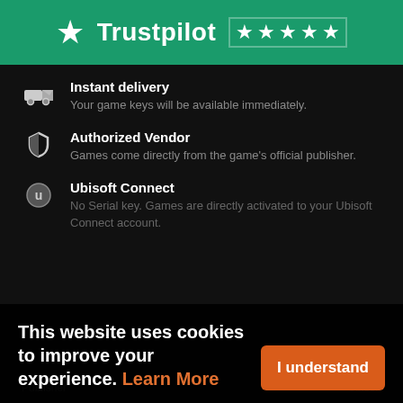[Figure (logo): Trustpilot logo with green background and 5 white stars rating]
Instant delivery
Your game keys will be available immediately.
Authorized Vendor
Games come directly from the game's official publisher.
Ubisoft Connect
No Serial key. Games are directly activated to your Ubisoft Connect account.
This website uses cookies to improve your experience. Learn More
Publisher    Ubisoft